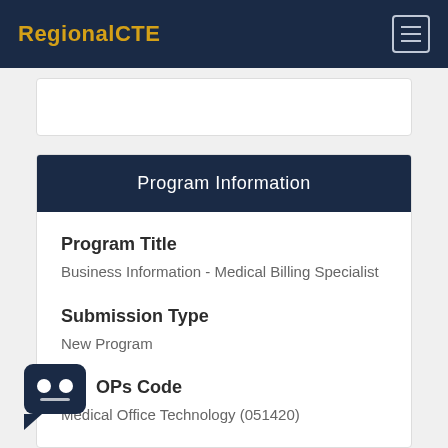RegionalCTE
Program Information
Program Title
Business Information - Medical Billing Specialist
Submission Type
New Program
TOPs Code
Medical Office Technology (051420)